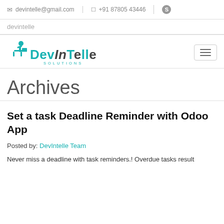devintelle@gmail.com | +91 87805 43446 | Skype
devintelle
[Figure (logo): DevIntelle Solutions logo with teal figure sitting at a desk, text reads DevIntelle Solutions]
Archives
Set a task Deadline Reminder with Odoo App
Posted by: DevIntelle Team
Never miss a deadline with task reminders.! Overdue tasks result